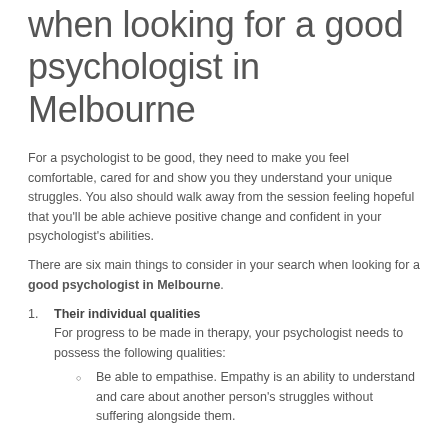when looking for a good psychologist in Melbourne
For a psychologist to be good, they need to make you feel comfortable, cared for and show you they understand your unique struggles. You also should walk away from the session feeling hopeful that you'll be able achieve positive change and confident in your psychologist's abilities.
There are six main things to consider in your search when looking for a good psychologist in Melbourne.
Their individual qualities
For progress to be made in therapy, your psychologist needs to possess the following qualities:
Be able to empathise. Empathy is an ability to understand and care about another person's struggles without suffering alongside them.